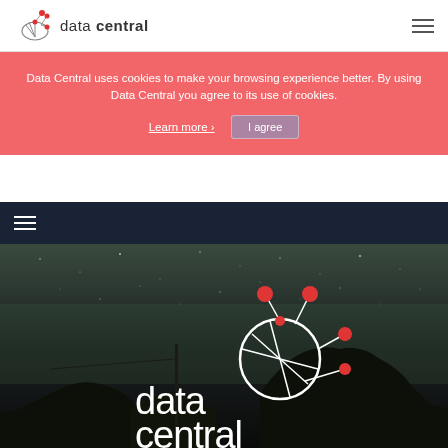[Figure (logo): Data Central logo with satellite dish graphic and red dots, text 'data central']
Data Central uses cookies to make your browsing experience better. By using Data Central you agree to its use of cookies. Learn more > I agree
[Figure (illustration): Dark navy navigation bar with hamburger menu icon]
[Figure (photo): Night sky hero image with tree silhouettes and Data Central logo (white with red dots) overlaid]